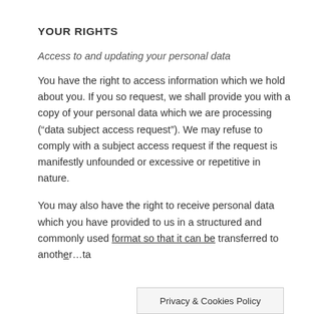YOUR RIGHTS
Access to and updating your personal data
You have the right to access information which we hold about you. If you so request, we shall provide you with a copy of your personal data which we are processing (“data subject access request”). We may refuse to comply with a subject access request if the request is manifestly unfounded or excessive or repetitive in nature.
You may also have the right to receive personal data which you have provided to us in a structured and commonly used format so that it can be transferred to anoth…ta
Privacy & Cookies Policy